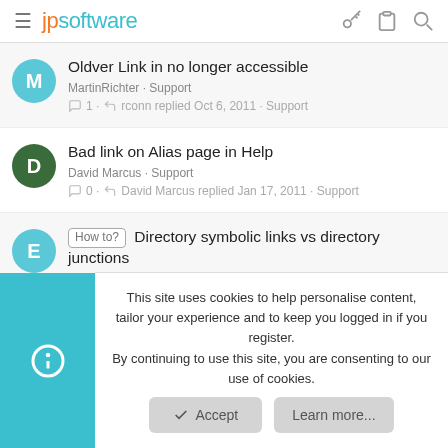jpsoftware
Oldver Link in no longer accessible
MartinRichter · Support
1 · rconn replied Oct 6, 2011 · Support
Bad link on Alias page in Help
David Marcus · Support
0 · David Marcus replied Jan 17, 2011 · Support
How to? Directory symbolic links vs directory junctions
evensenm · Support
2 · samintz replied Today at 5:30 PM · Support
This site uses cookies to help personalise content, tailor your experience and to keep you logged in if you register.
By continuing to use this site, you are consenting to our use of cookies.
Accept
Learn more...